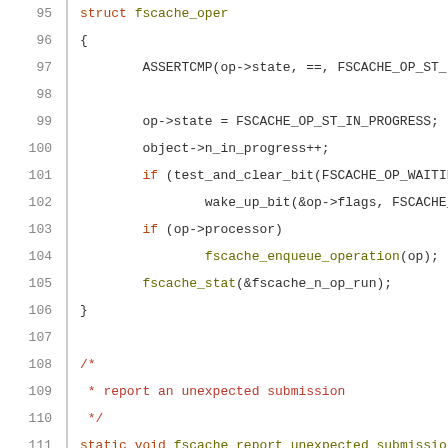[Figure (screenshot): Source code listing showing lines 95-116 of a C file related to fscache operations. Line numbers in grey on the left, code in monospace with syntax highlighting (keywords in dark red, comments in red, function names in olive/gold).]